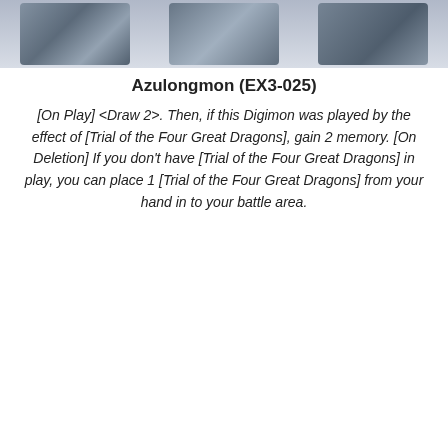[Figure (illustration): Top strip showing partial card artwork images of Digimon characters in dark blue/grey tones]
Azulongmon (EX3-025)
[On Play] <Draw 2>. Then, if this Digimon was played by the effect of [Trial of the Four Great Dragons], gain 2 memory. [On Deletion] If you don't have [Trial of the Four Great Dragons] in play, you can place 1 [Trial of the Four Great Dragons] from your hand in to your battle area.
[Figure (illustration): Digimon trading card game OPTION card with cost 4, showing a blue energy dragon artwork with lightning effects on dark blue background]